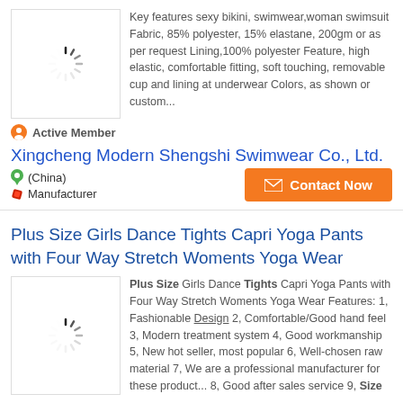Key features sexy bikini, swimwear,woman swimsuit Fabric, 85% polyester, 15% elastane, 200gm or as per request Lining,100% polyester Feature, high elastic, comfortable fitting, soft touching, removable cup and lining at underwear Colors, as shown or custom...
Active Member
Xingcheng Modern Shengshi Swimwear Co., Ltd.
(China)
Manufacturer
Plus Size Girls Dance Tights Capri Yoga Pants with Four Way Stretch Woments Yoga Wear
Plus Size Girls Dance Tights Capri Yoga Pants with Four Way Stretch Woments Yoga Wear Features: 1, Fashionable Design 2, Comfortable/Good hand feel 3, Modern treatment system 4, Good workmanship 5, New hot seller, most popular 6, Well-chosen raw material 7, We are a professional manufacturer for these product... 8, Good after sales service 9, Size